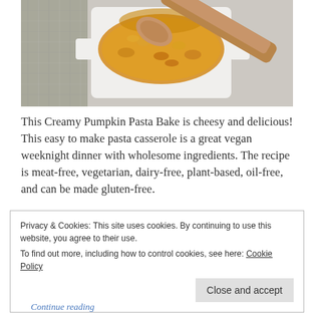[Figure (photo): Overhead photo of a white baking dish with creamy pumpkin pasta, being scooped with a wooden spoon. A grey cloth napkin is visible in the upper left.]
This Creamy Pumpkin Pasta Bake is cheesy and delicious! This easy to make pasta casserole is a great vegan weeknight dinner with wholesome ingredients. The recipe is meat-free, vegetarian, dairy-free, plant-based, oil-free, and can be made gluten-free.
Privacy & Cookies: This site uses cookies. By continuing to use this website, you agree to their use.
To find out more, including how to control cookies, see here: Cookie Policy
Close and accept
Continue reading